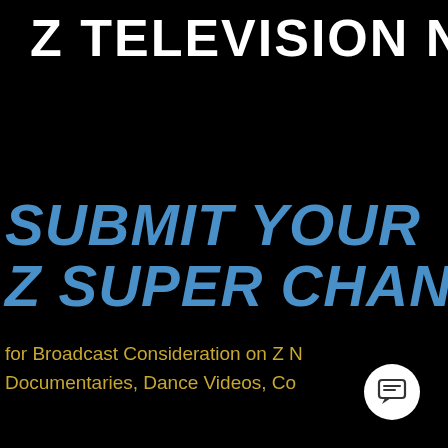Z TELEVISION N
SUBMIT YOUR Z SUPER CHAN
for Broadcast Consideration on Z N Documentaries, Dance Videos, Co
[Figure (illustration): White circular chat/message button icon in bottom-right corner]